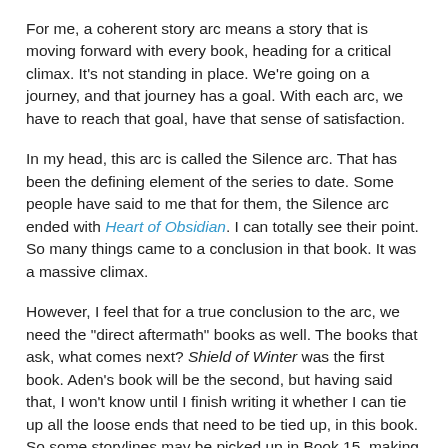For me, a coherent story arc means a story that is moving forward with every book, heading for a critical climax. It's not standing in place. We're going on a journey, and that journey has a goal. With each arc, we have to reach that goal, have that sense of satisfaction.
In my head, this arc is called the Silence arc. That has been the defining element of the series to date. Some people have said to me that for them, the Silence arc ended with Heart of Obsidian. I can totally see their point. So many things came to a conclusion in that book. It was a massive climax.
However, I feel that for a true conclusion to the arc, we need the "direct aftermath" books as well. The books that ask, what comes next? Shield of Winter was the first book. Aden's book will be the second, but having said that, I won't know until I finish writing it whether I can tie up all the loose ends that need to be tied up, in this book. So some storylines may be picked up in Book 15, making it the final book in the Silence arc.